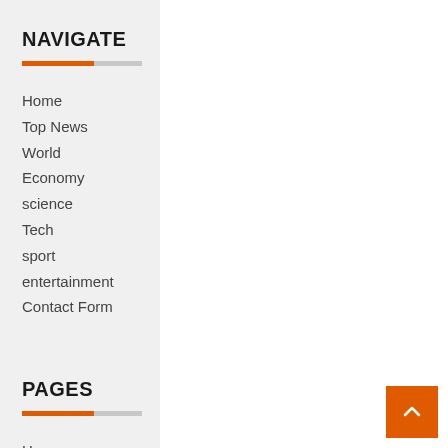NAVIGATE
Home
Top News
World
Economy
science
Tech
sport
entertainment
Contact Form
PAGES
Home
About Us
DMCA
Editorial Policy
Contact Form